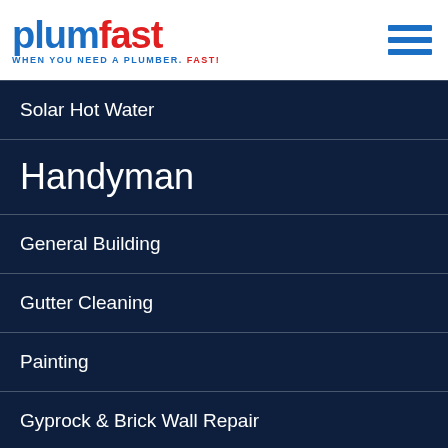[Figure (logo): Plumfast logo with blue 'plum' and red 'fast' text, tagline 'WHEN YOU NEED A PLUMBER. FAST!']
Solar Hot Water
Handyman
General Building
Gutter Cleaning
Painting
Gyprock & Brick Wall Repair
Timber Work